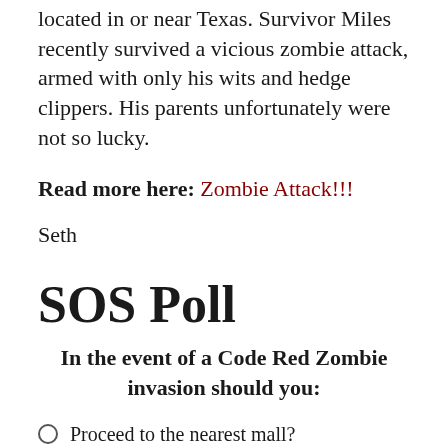located in or near Texas. Survivor Miles recently survived a vicious zombie attack, armed with only his wits and hedge clippers. His parents unfortunately were not so lucky.
Read more here: Zombie Attack!!!
Seth
SOS Poll
In the event of a Code Red Zombie invasion should you:
Proceed to the nearest mall?
Arm yourself with the ornamental katana you